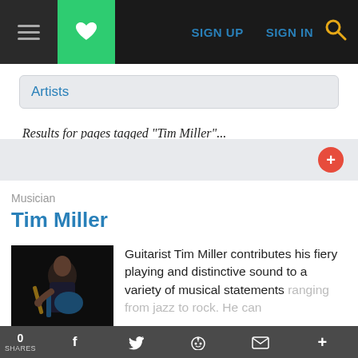SIGN UP  SIGN IN
Artists
Results for pages tagged "Tim Miller"...
Musician
Tim Miller
[Figure (photo): Photo of guitarist Tim Miller playing guitar on a dark stage]
Guitarist Tim Miller contributes his fiery playing and distinctive sound to a variety of musical statements ranging from jazz to rock. He can
0 SHARES  f  t  reddit  mail  +